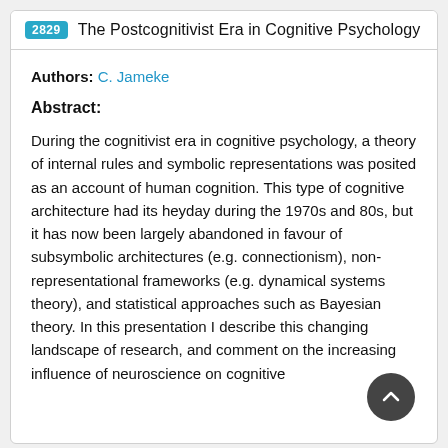2829 The Postcognitivist Era in Cognitive Psychology
Authors: C. Jameke
Abstract:
During the cognitivist era in cognitive psychology, a theory of internal rules and symbolic representations was posited as an account of human cognition. This type of cognitive architecture had its heyday during the 1970s and 80s, but it has now been largely abandoned in favour of subsymbolic architectures (e.g. connectionism), non-representational frameworks (e.g. dynamical systems theory), and statistical approaches such as Bayesian theory. In this presentation I describe this changing landscape of research, and comment on the increasing influence of neuroscience on cognitive